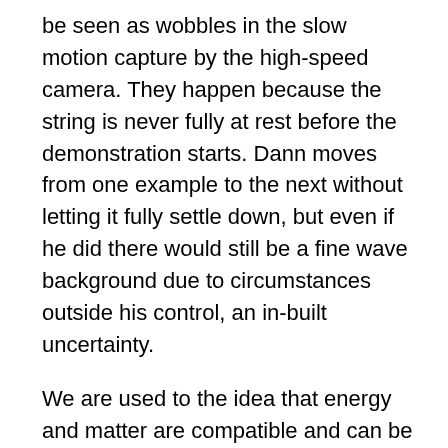be seen as wobbles in the slow motion capture by the high-speed camera. They happen because the string is never fully at rest before the demonstration starts. Dann moves from one example to the next without letting it fully settle down, but even if he did there would still be a fine wave background due to circumstances outside his control, an in-built uncertainty.
We are used to the idea that energy and matter are compatible and can be transformed, one into the other (E = mc²). Matter has been described as the collapsed waveform or point of action of waves of energy – the 'hit' where energy makes its impact. It forms interactive, bound clusters of these points of action which we call particles, atoms, molecules, compounds, chairs, tables, you.
Another word for the particles of which all things are built